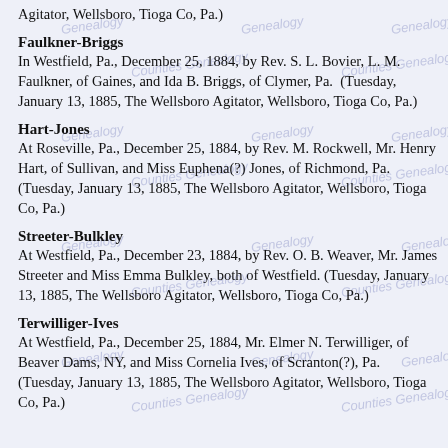Agitator, Wellsboro, Tioga Co, Pa.)
Faulkner-Briggs
In Westfield, Pa., December 25, 1884, by Rev. S. L. Bovier, L. M. Faulkner, of Gaines, and Ida B. Briggs, of Clymer, Pa.  (Tuesday, January 13, 1885, The Wellsboro Agitator, Wellsboro, Tioga Co, Pa.)
Hart-Jones
At Roseville, Pa., December 25, 1884, by Rev. M. Rockwell, Mr. Henry Hart, of Sullivan, and Miss Euphena(?) Jones, of Richmond, Pa.  (Tuesday, January 13, 1885, The Wellsboro Agitator, Wellsboro, Tioga Co, Pa.)
Streeter-Bulkley
At Westfield, Pa., December 23, 1884, by Rev. O. B. Weaver, Mr. James Streeter and Miss Emma Bulkley, both of Westfield. (Tuesday, January 13, 1885, The Wellsboro Agitator, Wellsboro, Tioga Co, Pa.)
Terwilliger-Ives
At Westfield, Pa., December 25, 1884, Mr. Elmer N. Terwilliger, of Beaver Dams, NY, and Miss Cornelia Ives, of Scranton(?), Pa. (Tuesday, January 13, 1885, The Wellsboro Agitator, Wellsboro, Tioga Co, Pa.)